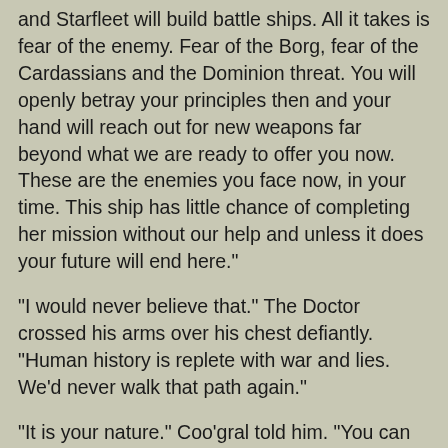and Starfleet will build battle ships. All it takes is fear of the enemy. Fear of the Borg, fear of the Cardassians and the Dominion threat. You will openly betray your principles then and your hand will reach out for new weapons far beyond what we are ready to offer you now. These are the enemies you face now, in your time. This ship has little chance of completing her mission without our help and unless it does your future will end here."
"I would never believe that." The Doctor crossed his arms over his chest defiantly. "Human history is replete with war and lies. We'd never walk that path again."
"It is your nature." Coo'gral told him. "You can ignore it but it remains at your core."
"I know that." The Doctor grinned cruelly. "I know the darkness broils away within every man. I know my mind harbours thoughts of evil actions but I won't judge a species by that measure. I judge us on our actions, on what we achieve in spite of our failings."
"You will bring the upgrades to the attention of the Captain?" The Coo'gral asked finally, its eyes locked into the angry scowl of the Doctor's. He nodded hesitantly in